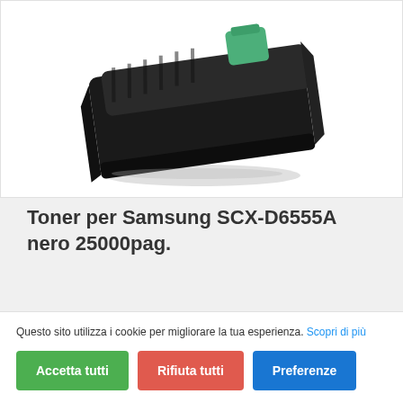[Figure (photo): Black Samsung toner cartridge SCX-D6555A with green tab on top, photographed at an angle on white background]
Toner per Samsung SCX-D6555A nero 25000pag.
Questo sito utilizza i cookie per migliorare la tua esperienza. Scopri di più
Accetta tutti
Rifiuta tutti
Preferenze